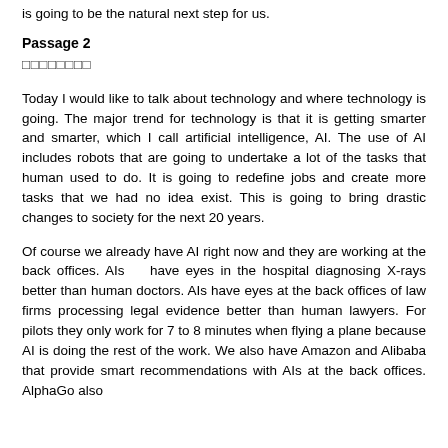is going to be the natural next step for us.
Passage 2
□□□□□□□□
Today I would like to talk about technology and where technology is going. The major trend for technology is that it is getting smarter and smarter, which I call artificial intelligence, AI. The use of AI includes robots that are going to undertake a lot of the tasks that human used to do. It is going to redefine jobs and create more tasks that we had no idea exist. This is going to bring drastic changes to society for the next 20 years.
Of course we already have AI right now and they are working at the back offices. AIs   have eyes in the hospital diagnosing X-rays better than human doctors. AIs have eyes at the back offices of law firms processing legal evidence better than human lawyers. For pilots they only work for 7 to 8 minutes when flying a plane because AI is doing the rest of the work. We also have Amazon and Alibaba that provide smart recommendations with AIs at the back offices. AlphaGo also